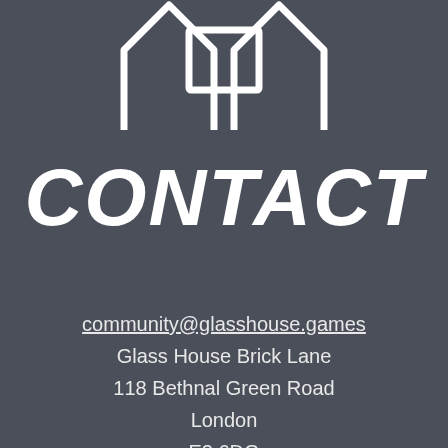[Figure (logo): Glowing white logo outline resembling a building or house shape with two peaked towers and a rectangular frame, on a dark grey background]
CONTACT
community@glasshouse.games
Glass House Brick Lane
118 Bethnal Green Road
London
E2 6DG